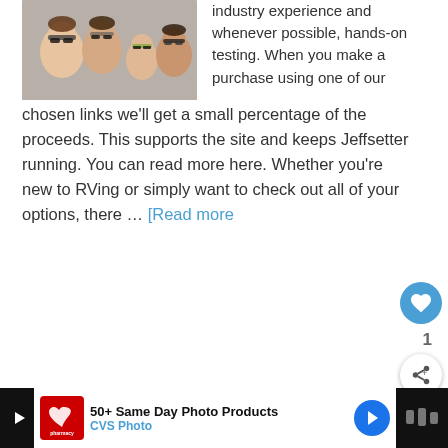[Figure (photo): Family photo with people leaning out of an RV window, wearing sunglasses]
industry experience and whenever possible, hands-on testing. When you make a purchase using one of our chosen links we'll get a small percentage of the proceeds. This supports the site and keeps Jeffsetter running. You can read more here. Whether you're new to RVing or simply want to check out all of your options, there … [Read more
12 Best Family Travel Trailers
50+ Same Day Photo Products CVS Photo
[Figure (photo): Thumbnail of Greece / Jeffsetter next article]